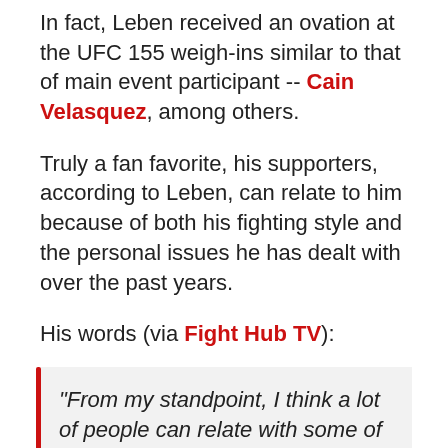In fact, Leben received an ovation at the UFC 155 weigh-ins similar to that of main event participant -- Cain Velasquez, among others.
Truly a fan favorite, his supporters, according to Leben, can relate to him because of both his fighting style and the personal issues he has dealt with over the past years.
His words (via Fight Hub TV):
"From my standpoint, I think a lot of people can relate with some of the battles that I've been through both in and out of the cage. And my life has been a lot like my fights, just always move forward, you know, kind of battle it out. I think a lot of people nowadays with the sport, it's not like boxing, now alot of these fans can relate. From The Ultimate